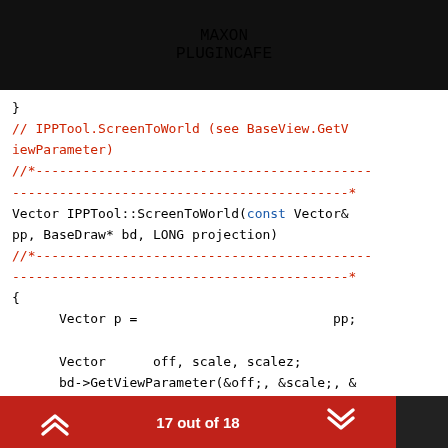MAXON PLUGINCAFE
}
// IPPTool.ScreenToWorld (see BaseView.GetViewParameter)
//*-----------------------------------------
-----------------------------------------*
Vector IPPTool::ScreenToWorld(const Vector& pp, BaseDraw* bd, LONG projection)
//*-----------------------------------------
-----------------------------------------*
{
      Vector p =                         pp;

      Vector      off, scale, scalez;
      bd->GetViewParameter(&off;, &scale;, &scalez;);
      switch (projection)
      {
17 out of 18